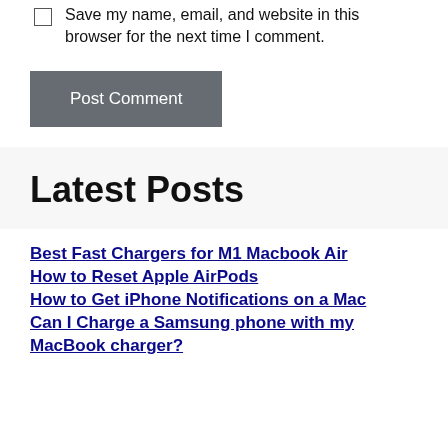Save my name, email, and website in this browser for the next time I comment.
Post Comment
Latest Posts
Best Fast Chargers for M1 Macbook Air
How to Reset Apple AirPods
How to Get iPhone Notifications on a Mac
Can I Charge a Samsung phone with my MacBook charger?